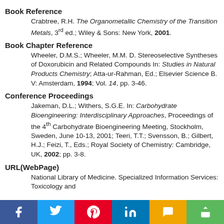Book Reference
Crabtree, R.H. The Organometallic Chemistry of the Transition Metals, 3rd ed.; Wiley & Sons: New York, 2001.
Book Chapter Reference
Wheeler, D.M.S.; Wheeler, M.M. D. Stereoselective Syntheses of Doxorubicin and Related Compounds In: Studies in Natural Products Chemistry; Atta-ur-Rahman, Ed.; Elsevier Science B. V: Amsterdam, 1994; Vol. 14, pp. 3-46.
Conference Proceedings
Jakeman, D.L.; Withers, S.G.E. In: Carbohydrate Bioengineering: Interdisciplinary Approaches, Proceedings of the 4th Carbohydrate Bioengineering Meeting, Stockholm, Sweden, June 10-13, 2001; Teeri, T.T.; Svensson, B.; Gilbert, H.J.; Feizi, T., Eds.; Royal Society of Chemistry: Cambridge, UK, 2002; pp. 3-8.
URL(WebPage)
National Library of Medicine. Specialized Information Services: Toxicology and…